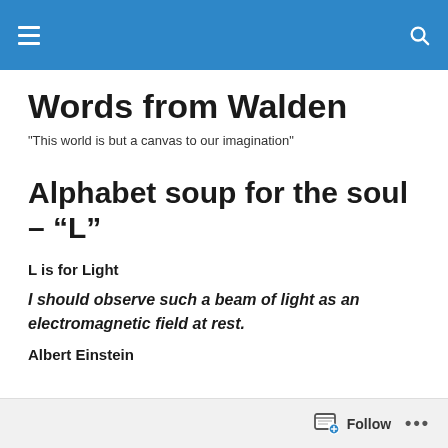Words from Walden — navigation bar
Words from Walden
"This world is but a canvas to our imagination"
Alphabet soup for the soul – “L”
L is for Light
I should observe such a beam of light as an electromagnetic field at rest.
Albert Einstein
Follow ...